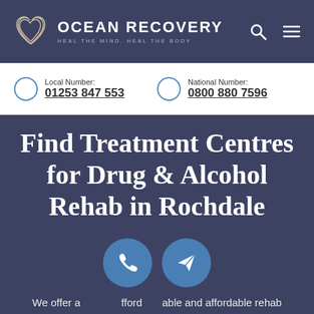[Figure (logo): Ocean Recovery logo with two overlapping heart outlines and text OCEAN RECOVERY / HEAL THE MIND. HEAL THE BODY]
OCEAN RECOVERY
HEAL THE MIND. HEAL THE BODY
Local Number:
01253 847 553
National Number:
0800 880 7596
Find Treatment Centres for Drug & Alcohol Rehab in Rochdale
We offer affordable rehab services local to Rochdale. We specialise in